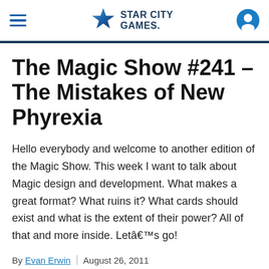Star City Games
The Magic Show #241 – The Mistakes of New Phyrexia
Hello everybody and welcome to another edition of the Magic Show. This week I want to talk about Magic design and development. What makes a great format? What ruins it? What cards should exist and what is the extent of their power? All of that and more inside. Letâ€™s go!
By Evan Erwin | August 26, 2011